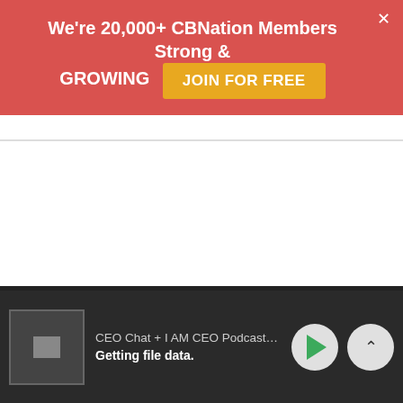We're 20,000+ CBNation Members Strong & GROWING  JOIN FOR FREE
[Figure (screenshot): White empty content area between banner and player bar]
CEO Chat + I AM CEO Podcasts  CEO |  Getting file data.